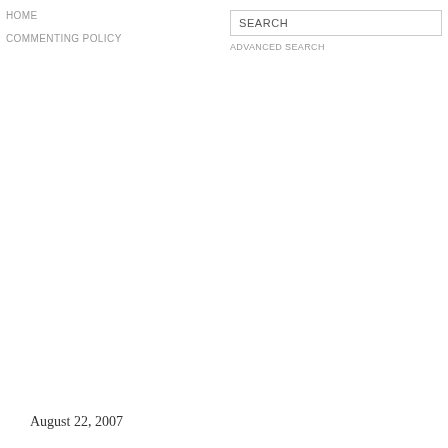HOME
COMMENTING POLICY
SEARCH
ADVANCED SEARCH
August 22, 2007